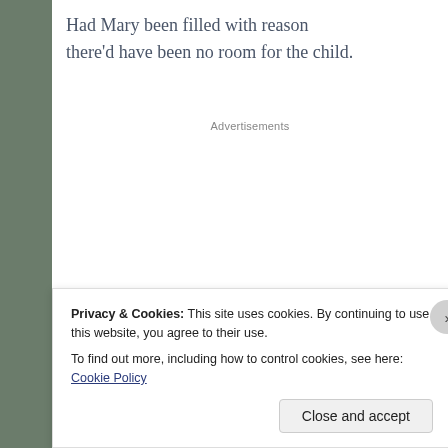Had Mary been filled with reason
there'd have been no room for the child.
Advertisements
Privacy & Cookies: This site uses cookies. By continuing to use this website, you agree to their use.
To find out more, including how to control cookies, see here: Cookie Policy
Close and accept